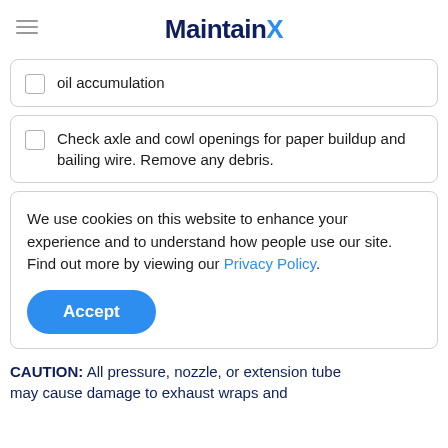MaintainX
oil accumulation
Check axle and cowl openings for paper buildup and bailing wire. Remove any debris.
We use cookies on this website to enhance your experience and to understand how people use our site. Find out more by viewing our Privacy Policy.
Accept
CAUTION: All pressure, nozzle, or extension tube may cause damage to exhaust wraps and